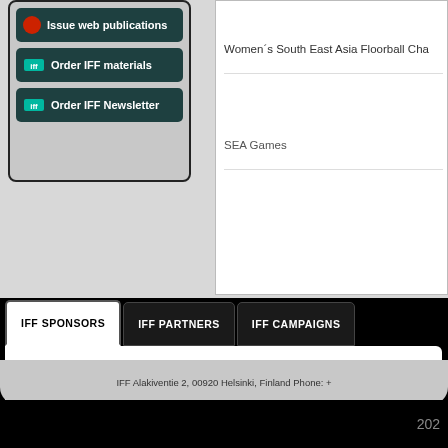Issue web publications
Order IFF materials
Order IFF Newsletter
Women's South East Asia Floorball Cha...
SEA Games
IFF SPONSORS
IFF PARTNERS
IFF CAMPAIGNS
IFF Alakiventie 2, 00920 Helsinki, Finland Phone: +...
202